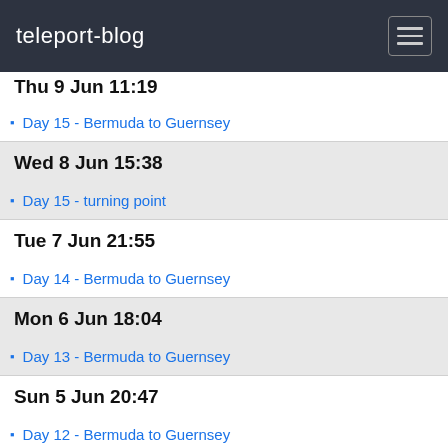teleport-blog
Thu 9 Jun 11:19
Day 15 - Bermuda to Guernsey
Wed 8 Jun 15:38
Day 15 - turning point
Tue 7 Jun 21:55
Day 14 - Bermuda to Guernsey
Mon 6 Jun 18:04
Day 13 - Bermuda to Guernsey
Sun 5 Jun 20:47
Day 12 - Bermuda to Guernsey
Sat 4 Jun 23:13
Day 11 - Bermuda to Guernsey
Fri 3 Jun 22:30
Day 10 - Bermuda to Guernsey
Thu 2 Jun 21:19
Day 9 - Bermuda to Guernsey